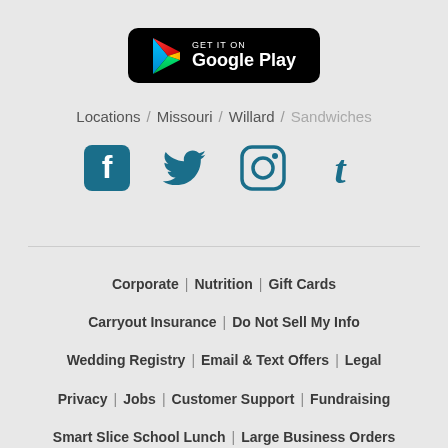[Figure (logo): Google Play Store badge - black rounded rectangle with multicolor play triangle icon and text 'GET IT ON Google Play' in white]
Locations / Missouri / Willard / Sandwiches
[Figure (other): Social media icons: Facebook, Twitter, Instagram, Tumblr in teal/dark cyan color]
Corporate | Nutrition | Gift Cards
Carryout Insurance | Do Not Sell My Info
Wedding Registry | Email & Text Offers | Legal
Privacy | Jobs | Customer Support | Fundraising
Smart Slice School Lunch | Large Business Orders